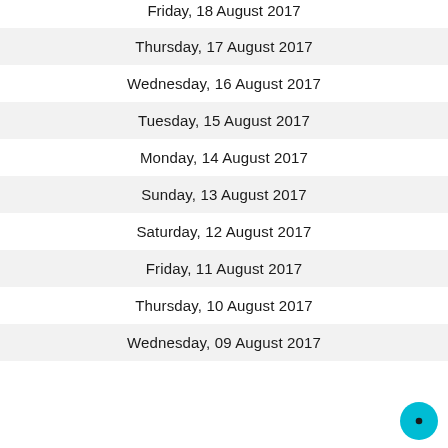Friday, 18 August 2017
Thursday, 17 August 2017
Wednesday, 16 August 2017
Tuesday, 15 August 2017
Monday, 14 August 2017
Sunday, 13 August 2017
Saturday, 12 August 2017
Friday, 11 August 2017
Thursday, 10 August 2017
Wednesday, 09 August 2017